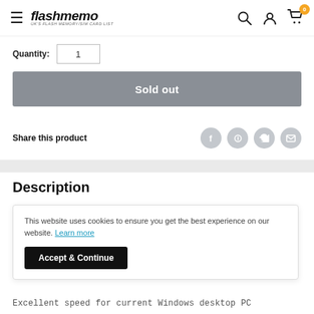flashmemo — navigation bar with hamburger menu, logo, search, account, and cart icons
Quantity: 1
Sold out
Share this product
Description
This website uses cookies to ensure you get the best experience on our website. Learn more
Accept & Continue
Excellent speed for current Windows desktop PC